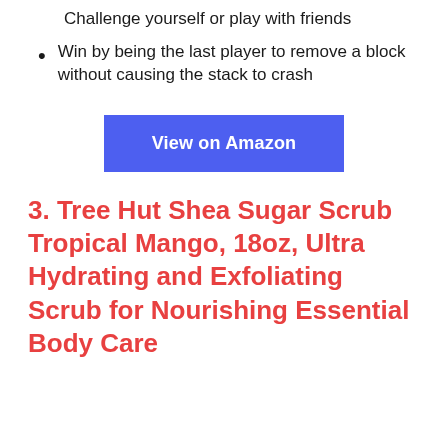Challenge yourself or play with friends
Win by being the last player to remove a block without causing the stack to crash
[Figure (other): Blue button labeled 'View on Amazon']
3. Tree Hut Shea Sugar Scrub Tropical Mango, 18oz, Ultra Hydrating and Exfoliating Scrub for Nourishing Essential Body Care